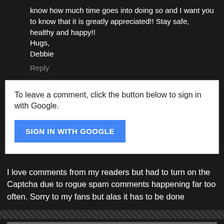know how much time goes into doing so and I want you to know that it is greatly appreciated!! Stay safe, healthy and happy!!
Hugs,
Debbie
Reply
To leave a comment, click the button below to sign in with Google.
SIGN IN WITH GOOGLE
I love comments from my readers but had to turn on the Captcha due to rogue spam comments happening far too often. Sorry to my fans but alas it has to be done
< Home > View web version